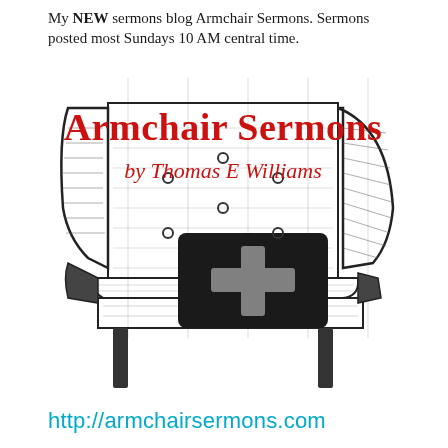My NEW sermons blog Armchair Sermons. Sermons posted most Sundays 10 AM central time.
[Figure (illustration): Black and white sketch illustration of an armchair with a dark pillow displaying a cross symbol. Overlaid text reads 'Armchair Sermons' in large red serif font and 'by Thomas E Williams' in smaller red italic font.]
http://armchairsermons.com